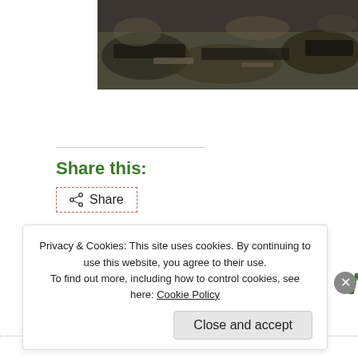[Figure (photo): Photograph of rubble/debris, partially cropped at top of page, showing dark rocks and scattered materials]
Share this:
Share
Loading...
Read Full Post »
Privacy & Cookies: This site uses cookies. By continuing to use this website, you agree to their use.
To find out more, including how to control cookies, see here: Cookie Policy
Close and accept